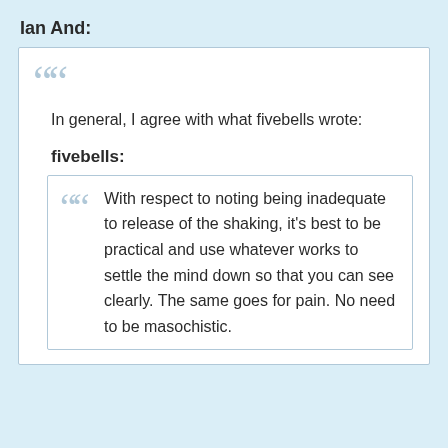Ian And:
In general, I agree with what fivebells wrote:
fivebells:
With respect to noting being inadequate to release of the shaking, it's best to be practical and use whatever works to settle the mind down so that you can see clearly. The same goes for pain. No need to be masochistic.